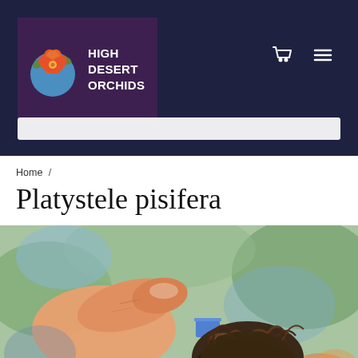[Figure (logo): High Desert Orchids logo with orange orchid flower on blue circle background, text reads HIGH DESERT ORCHIDS]
Home /
Platystele pisifera
[Figure (photo): Close-up photo of a person holding a small orchid plant (Platystele pisifera) with roots visible, blue label tag, blurred green background]